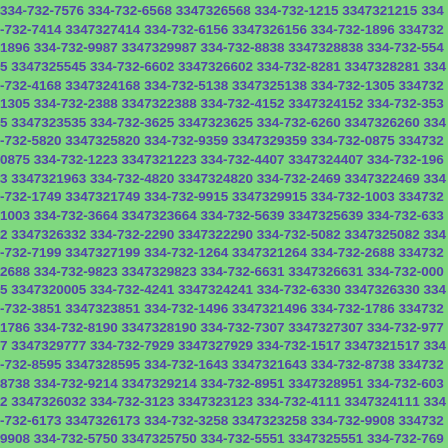334-732-7576 334-732-6568 3347326568 334-732-1215 3347321215 334-732-7414 3347327414 334-732-6156 3347326156 334-732-1896 3347321896 334-732-9987 3347329987 334-732-8838 3347328838 334-732-5545 3347325545 334-732-6602 3347326602 334-732-8281 3347328281 334-732-4168 3347324168 334-732-5138 3347325138 334-732-1305 3347321305 334-732-2388 3347322388 334-732-4152 3347324152 334-732-3535 3347323535 334-732-3625 3347323625 334-732-6260 3347326260 334-732-5820 3347325820 334-732-9359 3347329359 334-732-0875 3347320875 334-732-1223 3347321223 334-732-4407 3347324407 334-732-1963 3347321963 334-732-4820 3347324820 334-732-2469 3347322469 334-732-1749 3347321749 334-732-9915 3347329915 334-732-1003 3347321003 334-732-3664 3347323664 334-732-5639 3347325639 334-732-6332 3347326332 334-732-2290 3347322290 334-732-5082 3347325082 334-732-7199 3347327199 334-732-1264 3347321264 334-732-2688 3347322688 334-732-9823 3347329823 334-732-6631 3347326631 334-732-0005 3347320005 334-732-4241 3347324241 334-732-6330 3347326330 334-732-3851 3347323851 334-732-1496 3347321496 334-732-1786 3347321786 334-732-8190 3347328190 334-732-7307 3347327307 334-732-9777 3347329777 334-732-7929 3347327929 334-732-1517 3347321517 334-732-8595 3347328595 334-732-1643 3347321643 334-732-8738 3347328738 334-732-9214 3347329214 334-732-8951 3347328951 334-732-6032 3347326032 334-732-3123 3347323123 334-732-4111 3347324111 334-732-6173 3347326173 334-732-3258 3347323258 334-732-9908 3347329908 334-732-5750 3347325750 334-732-5551 3347325551 334-732-7695 3347327695